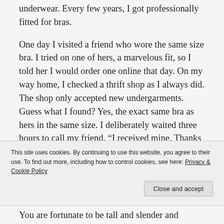underwear. Every few years, I got professionally fitted for bras.
One day I visited a friend who wore the same size bra. I tried on one of hers, a marvelous fit, so I told her I would order one online that day. On my way home, I checked a thrift shop as I always did. The shop only accepted new undergarments. Guess what I found? Yes, the exact same bra as hers in the same size. I deliberately waited three hours to call my friend. “I received mine. Thanks for letting me try on yours.” There was a very long hesitation on her end as she tried to
This site uses cookies. By continuing to use this website, you agree to their use. To find out more, including how to control cookies, see here: Privacy & Cookie Policy
You are fortunate to be tall and slender and